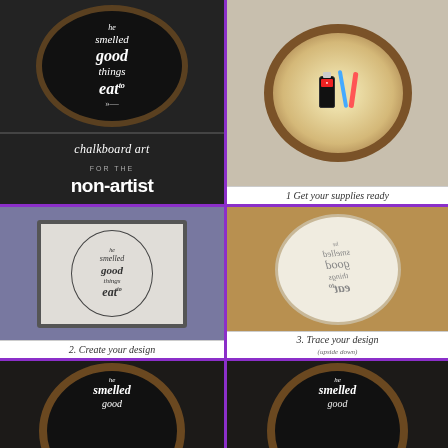[Figure (photo): Tutorial collage showing chalkboard art on wood slices with title 'chalkboard art for the non-artist'. Six panels: (1) finished chalkboard piece, (2) supplies photo, (3) create your design step, (4) trace your design step, (5) painting in progress bottom left, (6) finished piece bottom right.]
1 Get your supplies ready
2. Create your design
3. Trace your design (upside down)